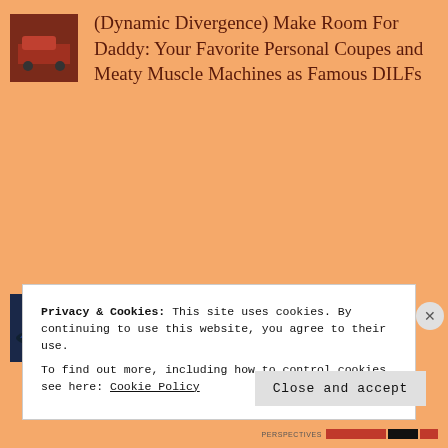(Dynamic Divergence) Make Room For Daddy: Your Favorite Personal Coupes and Meaty Muscle Machines as Famous DILFs
(Found In) Uptown (Oakland, California): 1968 Cadillac Fleetwood Eldorado Two Door Hardtop Coupe
Privacy & Cookies: This site uses cookies. By continuing to use this website, you agree to their use. To find out more, including how to control cookies, see here: Cookie Policy